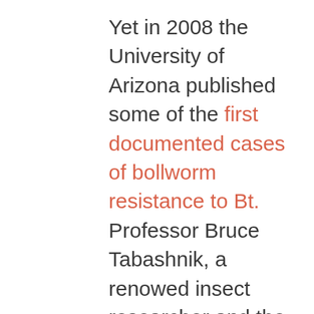Yet in 2008 the University of Arizona published some of the first documented cases of bollworm resistance to Bt. Professor Bruce Tabashnik, a renowed insect researcher and the primary researcher of this study, said “our results contradict the worse-case scenarios of some experts under which resistance to Bt plants was expected in three years.  It is no surprise that, after a while, pests can develop biological strategies against insecticidal agents and become thereby insensitive:  as  a rule, even